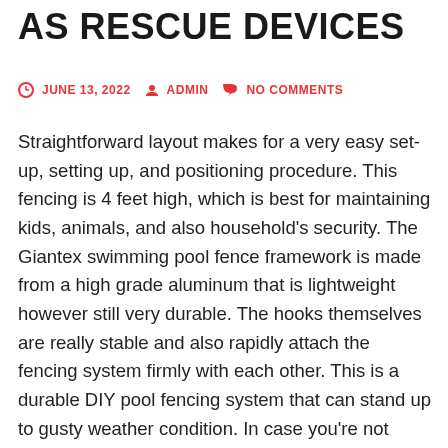AS RESCUE DEVICES
JUNE 13, 2022  ADMIN  NO COMMENTS
Straightforward layout makes for a very easy set-up, setting up, and positioning procedure. This fencing is 4 feet high, which is best for maintaining kids, animals, and also household's security. The Giantex swimming pool fence framework is made from a high grade aluminum that is lightweight however still very durable. The hooks themselves are really stable and also rapidly attach the fencing system firmly with each other. This is a durable DIY pool fencing system that can stand up to gusty weather condition. In case you're not within range of the alarm system, the wise door